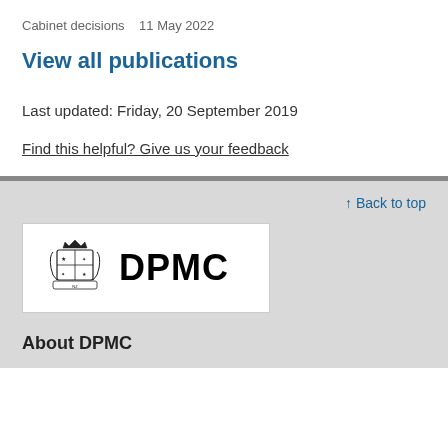Cabinet decisions   11 May 2022
View all publications
Last updated: Friday, 20 September 2019
Find this helpful? Give us your feedback
↑ Back to top
[Figure (logo): DPMC (Department of the Prime Minister and Cabinet) logo with New Zealand coat of arms and bold DPMC text]
About DPMC